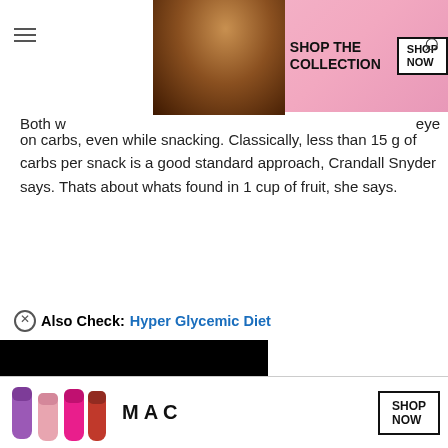[Figure (photo): Victoria's Secret top advertisement banner with model photo, VS logo, 'SHOP THE COLLECTION' text, and 'SHOP NOW' button on pink background]
Both w... eye on carbs, even while snacking. Classically, less than 15 g of carbs per snack is a good standard approach, Crandall Snyder says. Thats about whats found in 1 cup of fruit, she says.
Also Check: Hyper Glycemic Diet
[Figure (photo): Black video/image block partially covering content]
cemic Index
The glycemic index measures and ranks various foods by how much they cause blood sugar levels to rise. Research shows that following a low glycemic [CLOSE] diet decrea...
[Figure (photo): MAC Cosmetics bottom advertisement with lipsticks, MAC logo, and SHOP NOW button]